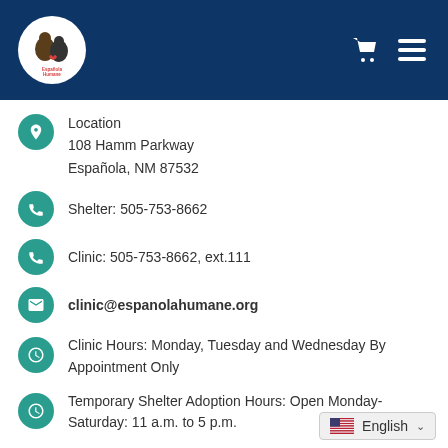[Figure (logo): Española Humane circular logo with animals]
Location
108 Hamm Parkway
Española, NM 87532
Shelter: 505-753-8662
Clinic: 505-753-8662, ext.111
clinic@espanolahumane.org
Clinic Hours: Monday, Tuesday and Wednesday By Appointment Only
Temporary Shelter Adoption Hours: Open Monday-Saturday: 11 a.m. to 5 p.m.
English